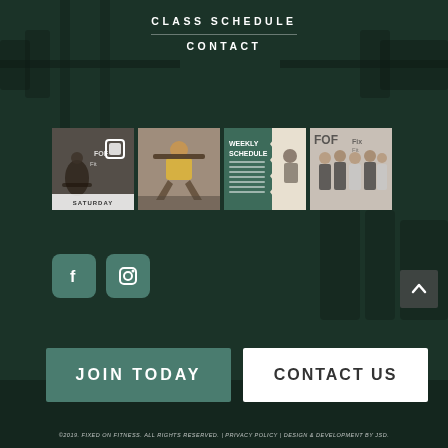[Figure (screenshot): Dark green gym background with weights and equipment]
CLASS SCHEDULE
CONTACT
[Figure (photo): Four Instagram thumbnail images: gym class Saturday, person squatting, weekly schedule graphic, group fitness photo with FOF Fix logo]
[Figure (illustration): Facebook and Instagram social media icons in teal rounded squares]
[Figure (infographic): Scroll-to-top arrow button]
JOIN TODAY
CONTACT US
©2019. FIXED ON FITNESS. ALL RIGHTS RESERVED. | PRIVACY POLICY | DESIGN & DEVELOPMENT BY JSD.